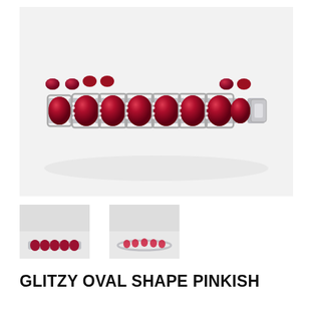[Figure (photo): Main product photo of a ruby and diamond tennis bracelet with large oval pinkish-red gemstones set in silver/white gold, displayed on a white background.]
[Figure (photo): Thumbnail image 1: small photo of the ruby bracelet viewed from same angle.]
[Figure (photo): Thumbnail image 2: small photo of the ruby bracelet viewed from a different angle showing it lying flat.]
GLITZY OVAL SHAPE PINKISH